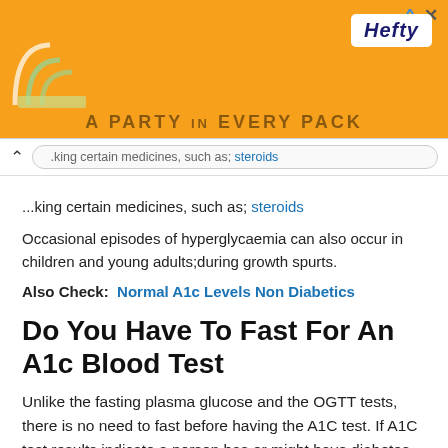[Figure (other): Hefty brand advertisement banner with orange background, Hefty logo, arches graphic, and partial text 'A PARTY in EVERY PACK']
...taking certain medicines, such as; steroids
Occasional episodes of hyperglycaemia can also occur in children and young adults;during growth spurts.
Also Check:  Normal A1c Levels Non Diabetics
Do You Have To Fast For An A1c Blood Test
Unlike the fasting plasma glucose and the OGTT tests, there is no need to fast before having the A1C test. If A1C test results indicate a person has or might have diabetes, a